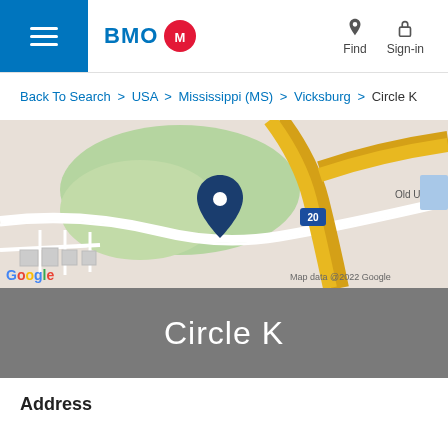BMO — Find | Sign-in
Back To Search > USA > Mississippi (MS) > Vicksburg > Circle K
[Figure (map): Google Map showing location near Vicksburg, Mississippi with a blue pin marker near Interstate 20. Map data @2022 Google.]
Circle K
Address